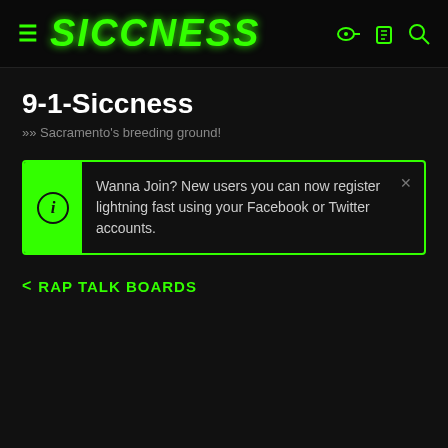SICCNESS
9-1-Siccness
»» Sacramento's breeding ground!
Wanna Join? New users you can now register lightning fast using your Facebook or Twitter accounts.
< RAP TALK BOARDS